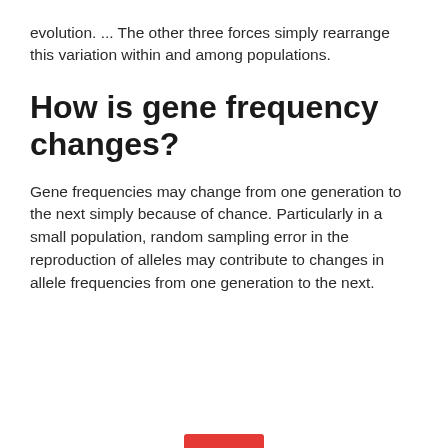evolution. ... The other three forces simply rearrange this variation within and among populations.
How is gene frequency changes?
Gene frequencies may change from one generation to the next simply because of chance. Particularly in a small population, random sampling error in the reproduction of alleles may contribute to changes in allele frequencies from one generation to the next.